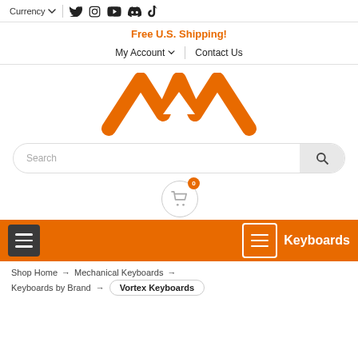Currency ▾  [social icons: Twitter, Instagram, YouTube, Discord, TikTok]
Free U.S. Shipping!
My Account ▾  |  Contact Us
[Figure (logo): Orange double-peak stylized M logo]
Search
[Figure (illustration): Shopping cart icon with orange badge showing 0]
Keyboards
Shop Home → Mechanical Keyboards →
Keyboards by Brand → Vortex Keyboards